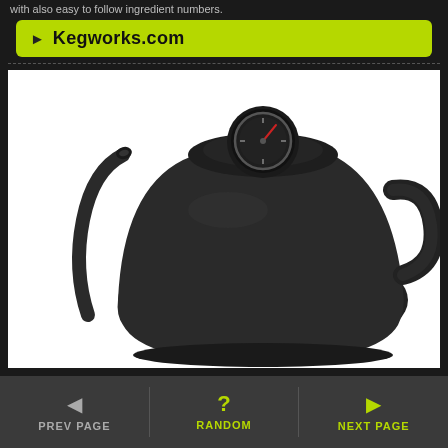with also easy to follow ingredient numbers.
► Kegworks.com
[Figure (photo): A matte black gooseneck pour-over kettle with a built-in thermometer on the lid, shown on a white background. The kettle has a long curved spout on the left and a handle on the right.]
◄ PREV PAGE | ? RANDOM | ► NEXT PAGE